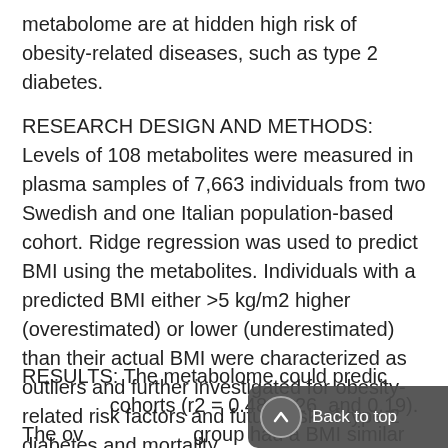metabolome are at hidden high risk of obesity-related diseases, such as type 2 diabetes.
RESEARCH DESIGN AND METHODS: Levels of 108 metabolites were measured in plasma samples of 7,663 individuals from two Swedish and one Italian population-based cohort. Ridge regression was used to predict BMI using the metabolites. Individuals with a predicted BMI either >5 kg/m2 higher (overestimated) or lower (underestimated) than their actual BMI were characterized as outliers and further investigated for obesity-related risk factors and future risk of type 2 diabetes and mortality.
RESULTS: The metabolome could predict BMI in all cohorts (r2 = 0.48, 0.26, and 0.19). The overestimated group had a BMI similar to individuals correctly